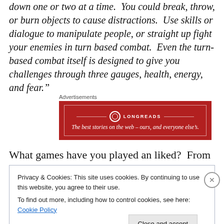down one or two at a time.  You could break, throw, or burn objects to cause distractions.  Use skills or dialogue to manipulate people, or straight up fight your enemies in turn based combat.  Even the turn-based combat itself is designed to give you challenges through three gauges, health, energy, and fear."
Advertisements
[Figure (other): Longreads advertisement banner — red background with white border, logo circle, text: 'LONGREADS' and tagline 'The best stories on the web – ours, and everyone else's.']
What games have you played an liked?  From there, what
Privacy & Cookies: This site uses cookies. By continuing to use this website, you agree to their use.
To find out more, including how to control cookies, see here: Cookie Policy
Close and accept